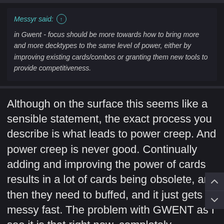Messyr said: ↑
in Gwent - focus should be more towards how to bring more and more decktypes to the same level of power, either by improving existing cards/combos or granting them new tools to provide competitiveness.
Although on the surface this seems like a sensible statement, the exact process you describe is what leads to power creep. And power creep is never good. Continually adding and improving the power of cards results in a lot of cards being obsolete, and then they need to buffed, and it just gets messy fast. The problem with GWENT as I see it is that right now, completely independent of skill, certain faction/card combinations are far